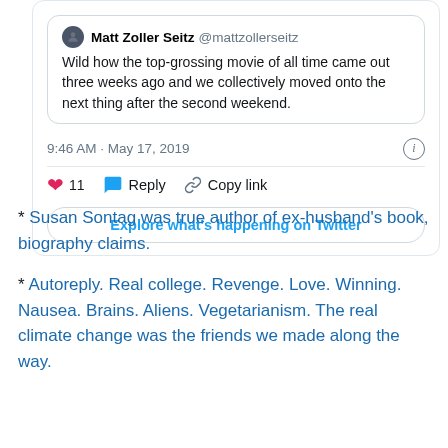[Figure (screenshot): Embedded tweet card showing a quoted tweet by Matt Zoller Seitz (@mattzollerseitz) with text 'Wild how the top-grossing movie of all time came out three weeks ago and we collectively moved onto the next thing after the second weekend.' Timestamp: 9:46 AM · May 17, 2019. Actions: 11 likes, Reply, Copy link. Button: Explore what's happening on Twitter.]
* Susan Sontag was true author of ex-husband's book, biography claims.
* Autoreply. Real college. Revenge. Love. Winning. Nausea. Brains. Aliens. Vegetarianism. The real climate change was the friends we made along the way.